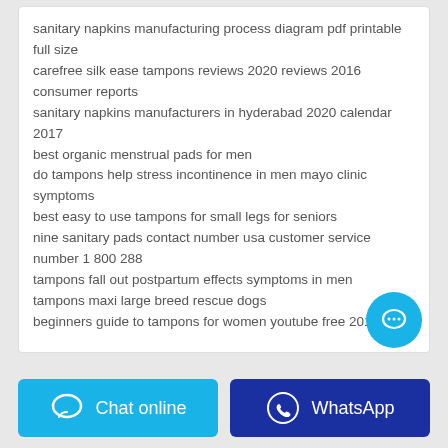sanitary napkins manufacturing process diagram pdf printable full size
carefree silk ease tampons reviews 2020 reviews 2016 consumer reports
sanitary napkins manufacturers in hyderabad 2020 calendar 2017
best organic menstrual pads for men
do tampons help stress incontinence in men mayo clinic symptoms
best easy to use tampons for small legs for seniors
nine sanitary pads contact number usa customer service number 1 800 288
tampons fall out postpartum effects symptoms in men
tampons maxi large breed rescue dogs
beginners guide to tampons for women youtube free 2019
[Figure (other): Cyan circular chat bubble button in bottom-right of card]
[Figure (other): Chat online button (cyan) with chat icon]
[Figure (other): WhatsApp button (dark blue) with WhatsApp phone icon]